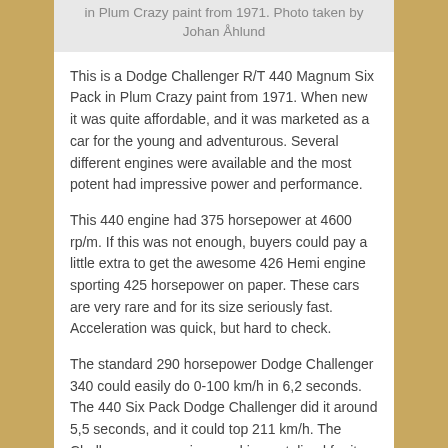in Plum Crazy paint from 1971. Photo taken by Johan Åhlund
This is a Dodge Challenger R/T 440 Magnum Six Pack in Plum Crazy paint from 1971. When new it was quite affordable, and it was marketed as a car for the young and adventurous. Several different engines were available and the most potent had impressive power and performance.
This 440 engine had 375 horsepower at 4600 rp/m. If this was not enough, buyers could pay a little extra to get the awesome 426 Hemi engine sporting 425 horsepower on paper. These cars are very rare and for its size seriously fast. Acceleration was quick, but hard to check.
The standard 290 horsepower Dodge Challenger 340 could easily do 0-100 km/h in 6,2 seconds. The 440 Six Pack Dodge Challenger did it around 5,5 seconds, and it could top 211 km/h. The Challenger was an icon and immortalized for its looks and performance in the 1971 movie Vanishing Point.